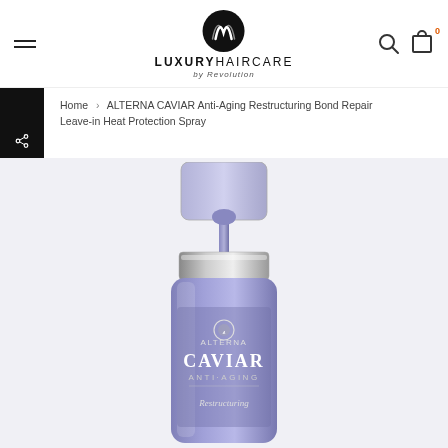LUXURYHAIRCARE by Revolution
Home > ALTERNA CAVIAR Anti-Aging Restructuring Bond Repair Leave-in Heat Protection Spray
[Figure (photo): Product photo of Alterna Caviar Anti-Aging Restructuring Bond Repair Leave-in Heat Protection Spray bottle — a lavender/blue pump spray bottle with silver pump collar, showing the Alterna Caviar Anti-Aging Restructuring label, on a light lavender/white gradient background.]